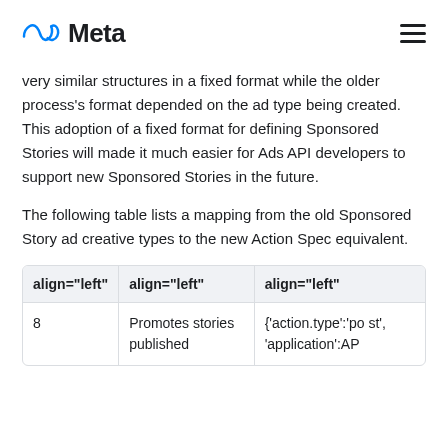Meta
very similar structures in a fixed format while the older process's format depended on the ad type being created. This adoption of a fixed format for defining Sponsored Stories will made it much easier for Ads API developers to support new Sponsored Stories in the future.
The following table lists a mapping from the old Sponsored Story ad creative types to the new Action Spec equivalent.
| align="left" | align="left" | align="left" |
| --- | --- | --- |
| 8 | Promotes stories published | {'action.type':'post', 'application':AP |